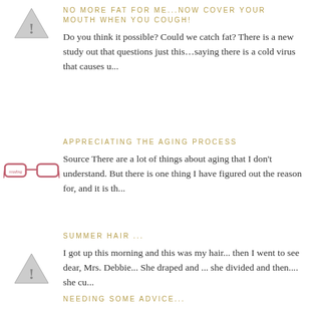NO MORE FAT FOR ME...NOW COVER YOUR MOUTH WHEN YOU COUGH!
Do you think it possible? Could we catch fat? There is a new study out that questions just this…saying there is a cold virus that causes u...
APPRECIATING THE AGING PROCESS
Source There are a lot of things about aging that I don't understand. But there is one thing I have figured out the reason for, and it is th...
SUMMER HAIR ...
I got up this morning and this was my hair... then I went to see dear, Mrs. Debbie... She draped and ... she divided and then.... she cu...
NEEDING SOME ADVICE...